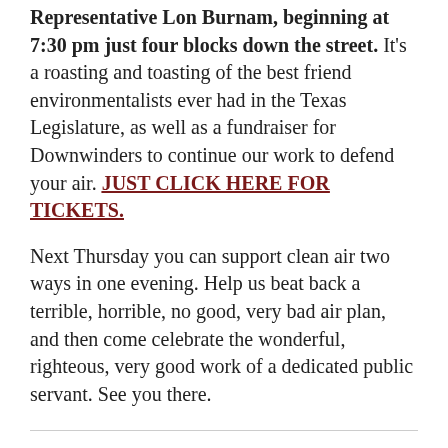Representative Lon Burnam, beginning at 7:30 pm just four blocks down the street. It's a roasting and toasting of the best friend environmentalists ever had in the Texas Legislature, as well as a fundraiser for Downwinders to continue our work to defend your air. JUST CLICK HERE FOR TICKETS.
Next Thursday you can support clean air two ways in one evening. Help us beat back a terrible, horrible, no good, very bad air plan, and then come celebrate the wonderful, righteous, very good work of a dedicated public servant. See you there.
Posted in Air Plan, Air Quality, car pollution, Cement, cement industry, Citizen Action, Coal, DFW SIP, EPA, Fracking, Gas, Midlothian, Natural Gas, Ozone, Smog, TCEQ, Volatile Organic Compounds